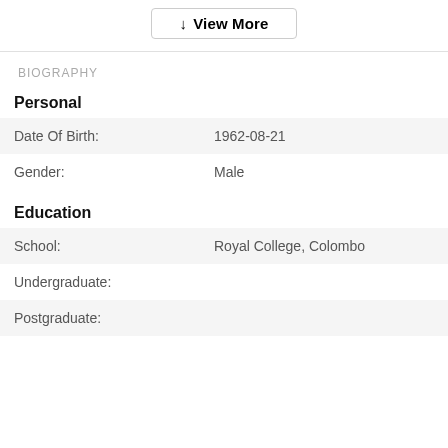↓ View More
BIOGRAPHY
Personal
| Field | Value |
| --- | --- |
| Date Of Birth: | 1962-08-21 |
| Gender: | Male |
Education
| Field | Value |
| --- | --- |
| School: | Royal College, Colombo |
| Undergraduate: |  |
| Postgraduate: |  |